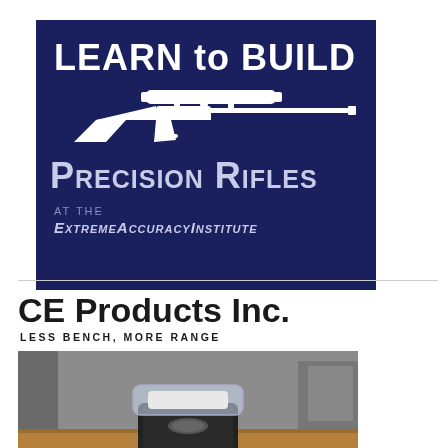[Figure (logo): Learn to Build Precision Rifles advertisement banner with dark navy blue background, white rifle silhouette, and text. AT THE ExtremeAccuracyInstitute branding at bottom.]
[Figure (logo): CE Products Inc. logo with tagline LESS BENCH, MORE RANGE in black text on white background, followed by a product photo of a powder scale/measuring device on a wooden surface.]